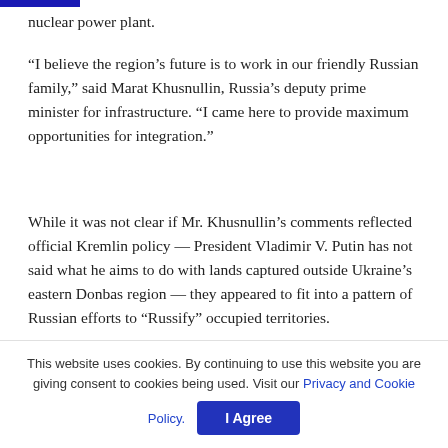nuclear power plant.
“I believe the region’s future is to work in our friendly Russian family,” said Marat Khusnullin, Russia’s deputy prime minister for infrastructure. “I came here to provide maximum opportunities for integration.”
While it was not clear if Mr. Khusnullin’s comments reflected official Kremlin policy — President Vladimir V. Putin has not said what he aims to do with lands captured outside Ukraine’s eastern Donbas region — they appeared to fit into a pattern of Russian efforts to “Russify” occupied territories.
Moscow has already moved to introduce Russian currency, install proxy local politicians, revamp school curriculums
This website uses cookies. By continuing to use this website you are giving consent to cookies being used. Visit our Privacy and Cookie Policy.
I Agree